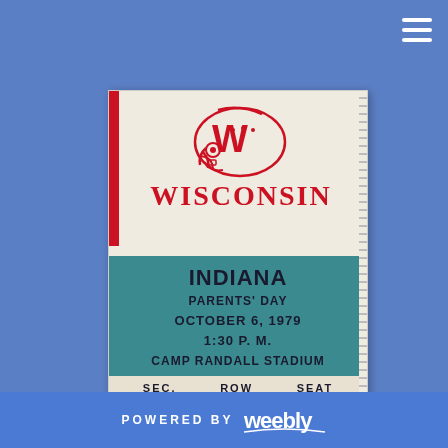[Figure (photo): Wisconsin Badgers football ticket stub for game vs Indiana, Parents' Day, October 6, 1979, 1:30 P.M., Camp Randall Stadium. Section E, Row 40, Seat 6. Features red Wisconsin 'W' helmet logo and teal lower half.]
INDIANA
PARENTS' DAY
OCTOBER 6, 1979
1:30 P. M.
CAMP RANDALL STADIUM
SEC.  ROW  SEAT
E  40  6
POWERED BY weebly